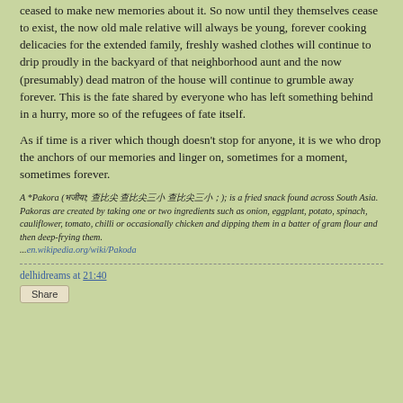ceased to make new memories about it. So now until they themselves cease to exist, the now old male relative will always be young, forever cooking delicacies for the extended family, freshly washed clothes will continue to drip proudly in the backyard of that neighborhood aunt and the now (presumably) dead matron of the house will continue to grumble away forever. This is the fate shared by everyone who has left something behind in a hurry, more so of the refugees of fate itself.
As if time is a river which though doesn’t stop for anyone, it is we who drop the anchors of our memories and linger on, sometimes for a moment, sometimes forever.
A *Pakora (بھیا; پکوڑ; بھاجی;); is a fried snack found across South Asia. Pakoras are created by taking one or two ingredients such as onion, eggplant, potato, spinach, cauliflower, tomato, chilli or occasionally chicken and dipping them in a batter of gram flour and then deep-frying them. ...en.wikipedia.org/wiki/Pakoda
delhidreams at 21:40